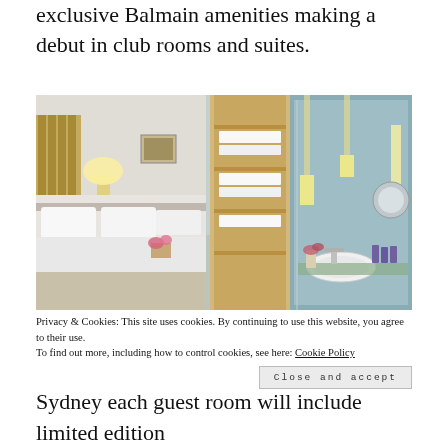exclusive Balmain amenities making a debut in club rooms and suites.
[Figure (photo): Hotel room and bathroom view showing a modern luxury hotel suite with white bedding, wooden shelving with folded towels, glass-enclosed bathroom with pendant lighting, sink with Balmain amenities, and mirror.]
Privacy & Cookies: This site uses cookies. By continuing to use this website, you agree to their use. To find out more, including how to control cookies, see here: Cookie Policy
Close and accept
Sydney each guest room will include limited edition